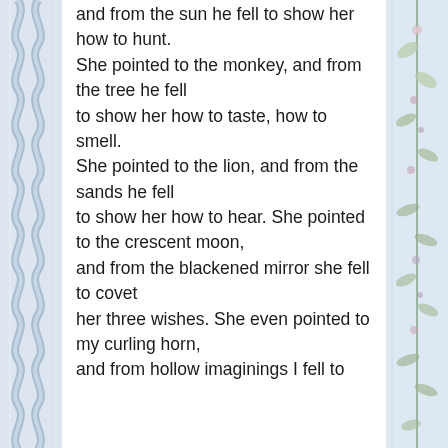[Figure (illustration): Decorative left border with braided/rope pattern in blue-grey tones]
[Figure (illustration): Decorative right border with floral/leaf pattern in muted colors]
and from the sun he fell to show her how to hunt.
She pointed to the monkey, and from the tree he fell
to show her how to taste, how to smell.
She pointed to the lion, and from the sands he fell
to show her how to hear. She pointed to the crescent moon,
and from the blackened mirror she fell to covet
her three wishes. She even pointed to my curling horn,
and from hollow imaginings I fell to